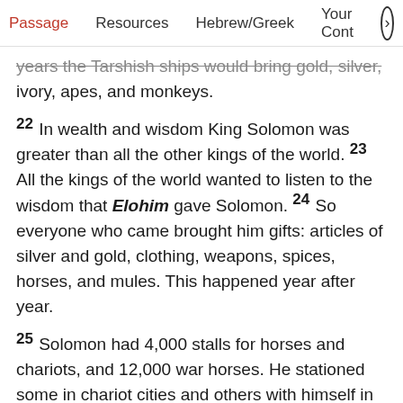Passage   Resources   Hebrew/Greek   Your Cont >
years the Tarshish ships would bring gold, silver, ivory, apes, and monkeys.
22 In wealth and wisdom King Solomon was greater than all the other kings of the world. 23 All the kings of the world wanted to listen to the wisdom that Elohim gave Solomon. 24 So everyone who came brought him gifts: articles of silver and gold, clothing, weapons, spices, horses, and mules. This happened year after year.
25 Solomon had 4,000 stalls for horses and chariots, and 12,000 war horses. He stationed some in chariot cities and others with himself in Jerusalem. 26 He ruled all the kings from the Euphrates River to the country of the Philistines and as far as the Egyptian border. 27 The king